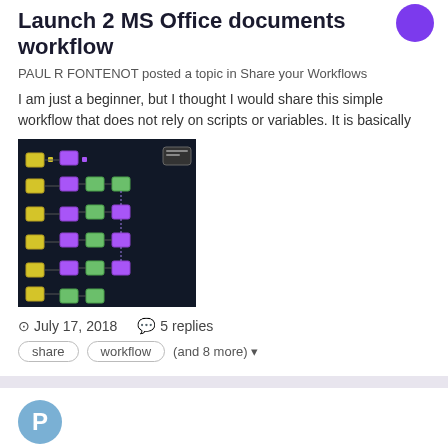Launch 2 MS Office documents workflow
PAUL R FONTENOT posted a topic in Share your Workflows
I am just a beginner, but I thought I would share this simple workflow that does not rely on scripts or variables. It is basically
[Figure (screenshot): Screenshot of a workflow diagram with colored nodes on a dark background]
July 17, 2018   5 replies
share   workflow   (and 8 more)
Alfred Neue (light and dark)
plethorum posted a topic in Themes
I made these for myself. I think its a good rescheme to the